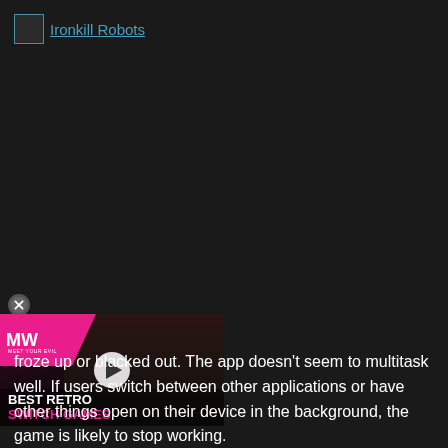Ironkill Robots
[Figure (screenshot): Advertisement overlay with pink MW logo banner, robot/character imagery, play button, and 'BEST RETRO SWITCH GAMES' text. Has a close button (X) in top-left corner.]
froze up or blacked out. The app doesn't seem to multitask well. If users switch between other applications or have other things open on their device in the background, the game is likely to stop working.